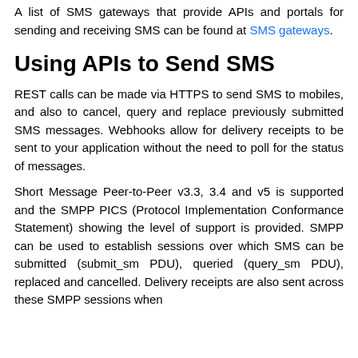A list of SMS gateways that provide APIs and portals for sending and receiving SMS can be found at SMS gateways.
Using APIs to Send SMS
REST calls can be made via HTTPS to send SMS to mobiles, and also to cancel, query and replace previously submitted SMS messages. Webhooks allow for delivery receipts to be sent to your application without the need to poll for the status of messages.
Short Message Peer-to-Peer v3.3, 3.4 and v5 is supported and the SMPP PICS (Protocol Implementation Conformance Statement) showing the level of support is provided. SMPP can be used to establish sessions over which SMS can be submitted (submit_sm PDU), queried (query_sm PDU), replaced and cancelled. Delivery receipts are also sent across these SMPP sessions when